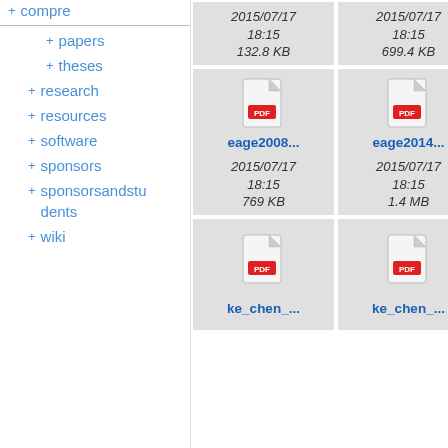+ compre (partial, truncated)
+ papers
+ theses
+ research
+ resources
+ software
+ sponsors
+ sponsorsandstudents
+ wiki
[Figure (screenshot): File browser grid showing PDF file entries with icons, filenames (eage2008..., eage2014..., ib..., ke_chen..., ke_chen..., me...), dates (2015/07/17 18:15), and sizes (132.8 KB, 699.4 KB, 769 KB, 1.4 MB)]